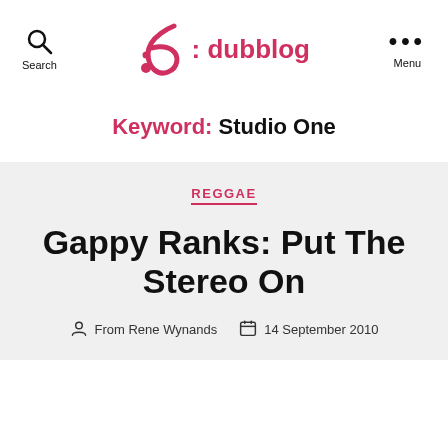Search | ♭: dubblog | Menu
Keyword: Studio One
REGGAE
Gappy Ranks: Put The Stereo On
From Rene Wynands   14 September 2010